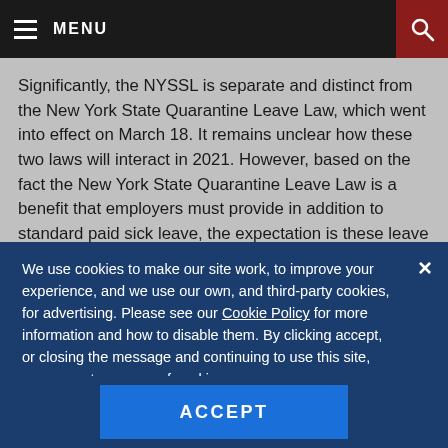MENU
Significantly, the NYSSL is separate and distinct from the New York State Quarantine Leave Law, which went into effect on March 18. It remains unclear how these two laws will interact in 2021. However, based on the fact the New York State Quarantine Leave Law is a benefit that employers must provide in addition to standard paid sick leave, the expectation is these leave entitlements will not run concurrently.
We use cookies to make our site work, to improve your experience, and we use our own, and third-party cookies, for advertising. Please see our Cookie Policy for more information and how to disable them. By clicking accept, or closing the message and continuing to use this site, you agree to our use of cookies.
ACCEPT